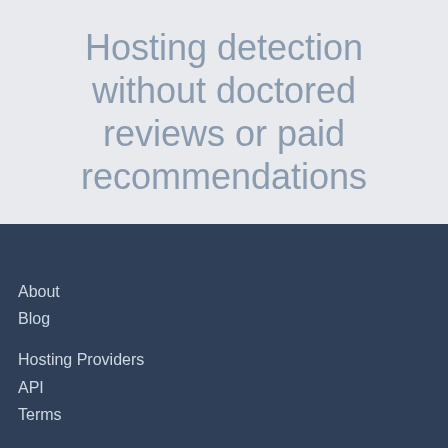Hosting detection without doctored reviews or paid recommendations
About
Blog
Hosting Providers
API
Terms